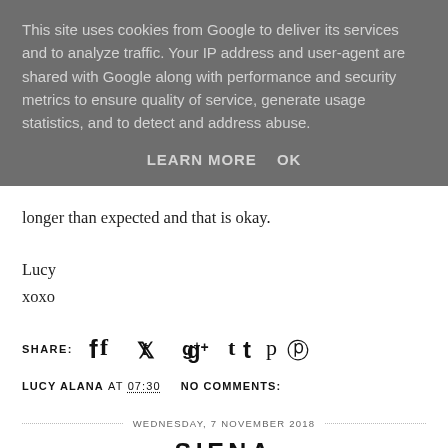This site uses cookies from Google to deliver its services and to analyze traffic. Your IP address and user-agent are shared with Google along with performance and security metrics to ensure quality of service, generate usage statistics, and to detect and address abuse.
LEARN MORE   OK
longer than expected and that is okay.
Lucy
xoxo
SHARE:
LUCY ALANA AT 07:30   NO COMMENTS:
WEDNESDAY, 7 NOVEMBER 2018
SIENA